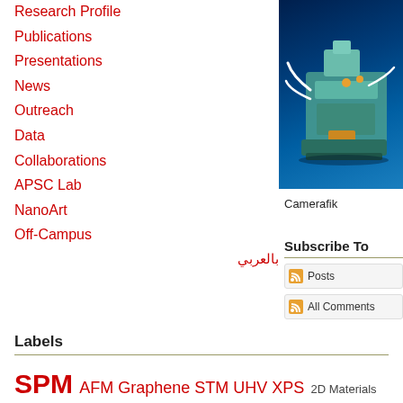Research Profile
Publications
Presentations
News
Outreach
Data
Collaborations
APSC Lab
NanoArt
Off-Campus
بالعربي
[Figure (photo): Scientific laboratory equipment/machine rendered in 3D on a blue gradient background]
Camerafik
Subscribe To
Posts
All Comments
Labels
SPM AFM Graphene STM UHV XPS 2D Materials APXPS Book CNT CO2 Cana... Nuclear Reactor OER Ottawa Oxidation Python Silicene Silicon Surface Science TMDs atomic...